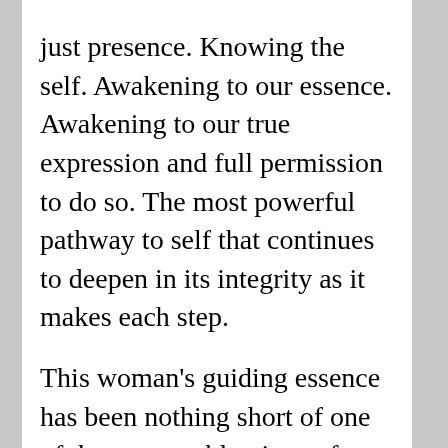just presence. Knowing the self. Awakening to our essence. Awakening to our true expression and full permission to do so. The most powerful pathway to self that continues to deepen in its integrity as it makes each step.

This woman's guiding essence has been nothing short of one of the greatest blessings of my life and I am forever grateful at the opportunity to call this woman my guide. I trust her every word and that's not something I say lightly. Her every breath earns